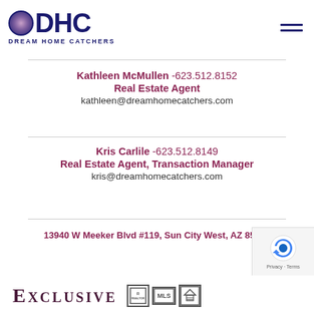[Figure (logo): DHC Dream Home Catchers logo with circular mandala emblem and dark blue text]
Kathleen McMullen -623.512.8152
Real Estate Agent
kathleen@dreamhomecatchers.com
Kris Carlile -623.512.8149
Real Estate Agent, Transaction Manager
kris@dreamhomecatchers.com
13940 W Meeker Blvd #119, Sun City West, AZ 85375
[Figure (logo): Exclusive text logo with Realtor, MLS, and Equal Housing badges]